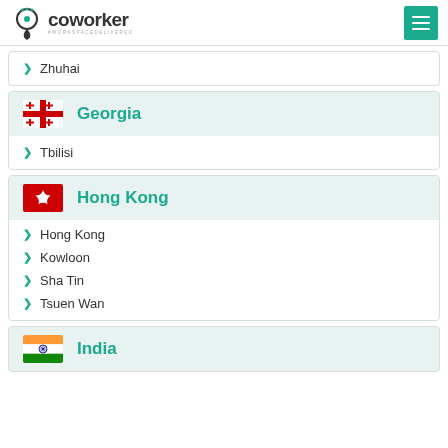coworker #WORKSPACEDELIVERED
Zhuhai
Georgia
Tbilisi
Hong Kong
Hong Kong
Kowloon
Sha Tin
Tsuen Wan
India